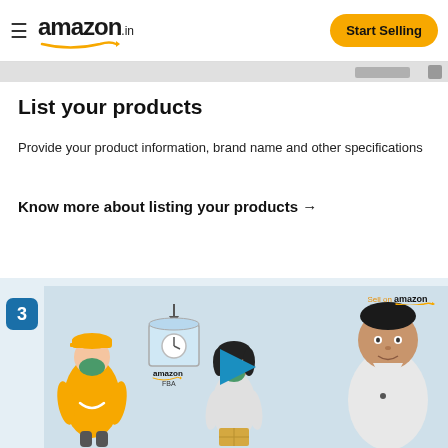amazon.in | Start Selling
List your products
Provide your product information, brand name and other specifications
Know more about listing your products →
[Figure (screenshot): Amazon seller page step 3 video thumbnail showing Amazon delivery person in orange uniform, Amazon FBA graphic, female character, and a man speaking to camera with 'Sell on amazon' branding and a play button]
3